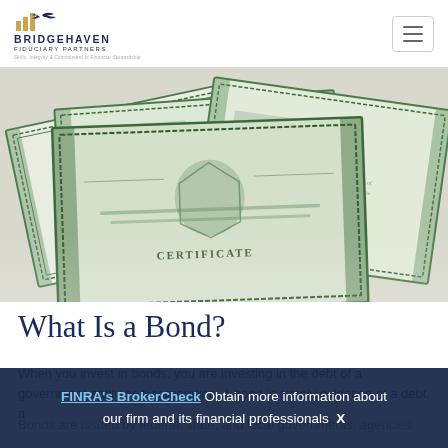[Figure (logo): Bridgehaven Fiduciary Partners logo with bar chart icon and tagline]
[Figure (photo): Stack of green-bordered bond certificates with eagle emblem and 'Certificate' text visible]
What Is a Bond?
When you invest in bonds, you are investing in the debt of a government entity or a corporation. A bond is simply evidence of a debt a...
Bonds are issued by federal, state, and local governments; agencies
FINRA's BrokerCheck Obtain more information about our firm and its financial professionals  X